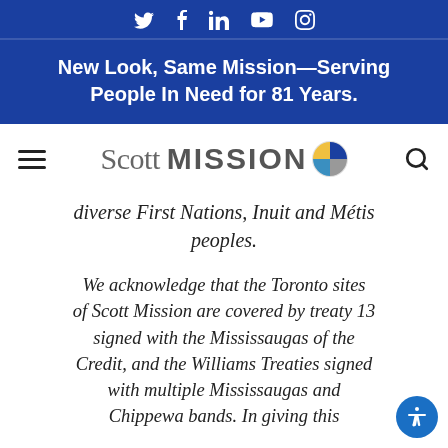Social media icons: Twitter, Facebook, LinkedIn, YouTube, Instagram
New Look, Same Mission—Serving People In Need for 81 Years.
[Figure (logo): Scott Mission logo with colorful pie-chart icon and wordmark]
diverse First Nations, Inuit and Métis peoples.
We acknowledge that the Toronto sites of Scott Mission are covered by treaty 13 signed with the Mississaugas of the Credit, and the Williams Treaties signed with multiple Mississaugas and Chippewa bands. In giving this